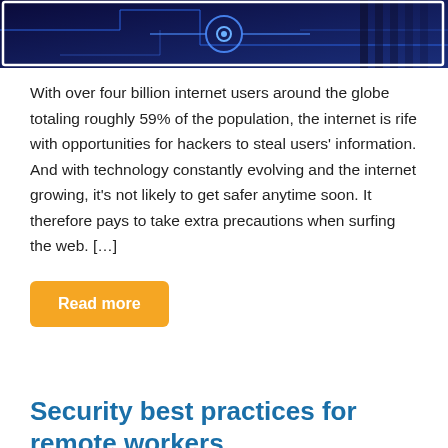[Figure (photo): Dark blue cybersecurity themed image with circuit board patterns and a circular tech design element]
With over four billion internet users around the globe totaling roughly 59% of the population, the internet is rife with opportunities for hackers to steal users' information. And with technology constantly evolving and the internet growing, it's not likely to get safer anytime soon. It therefore pays to take extra precautions when surfing the web. […]
Read more
Security best practices for remote workers
April 10th, 2020   prontowebadmin   Security
2020april10security_c, antivirus, cybersecurity, Data backup, firewall, multifactor authentication, online scam, password, phishing, remote work